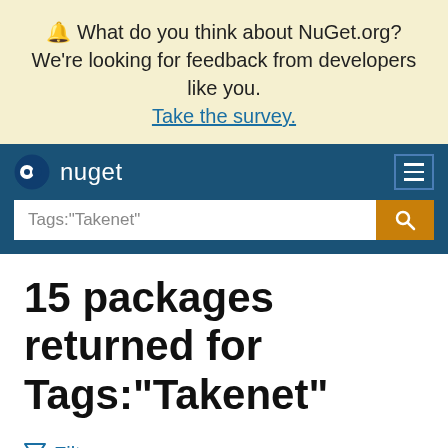🔔 What do you think about NuGet.org? We're looking for feedback from developers like you. Take the survey.
[Figure (screenshot): NuGet.org navigation bar with logo, hamburger menu, and search box showing Tags:"Takenet"]
15 packages returned for Tags:"Takenet"
Filter